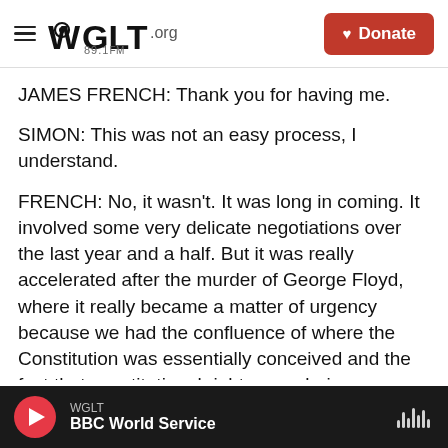WGLT.org 89.1FM | Donate
JAMES FRENCH: Thank you for having me.
SIMON: This was not an easy process, I understand.
FRENCH: No, it wasn't. It was long in coming. It involved some very delicate negotiations over the last year and a half. But it was really accelerated after the murder of George Floyd, where it really became a matter of urgency because we had the confluence of where the Constitution was essentially conceived and the fact that constitutional rights were being deprived.
WGLT | BBC World Service